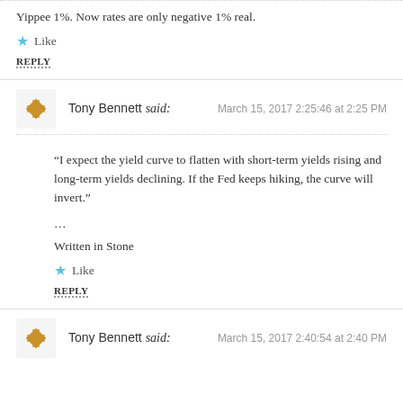Yippee 1%. Now rates are only negative 1% real.
Like
REPLY
Tony Bennett said:
March 15, 2017 2:25:46 at 2:25 PM
“I expect the yield curve to flatten with short-term yields rising and long-term yields declining. If the Fed keeps hiking, the curve will invert.”
…
Written in Stone
Like
REPLY
Tony Bennett said:
March 15, 2017 2:40:54 at 2:40 PM